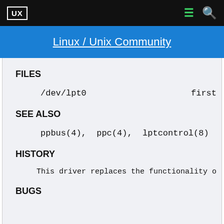UX
Linux / Unix Community
FILES
/dev/lpt0    first
SEE ALSO
ppbus(4),  ppc(4),  lptcontrol(8)
HISTORY
This driver replaces the functionality o
BUGS